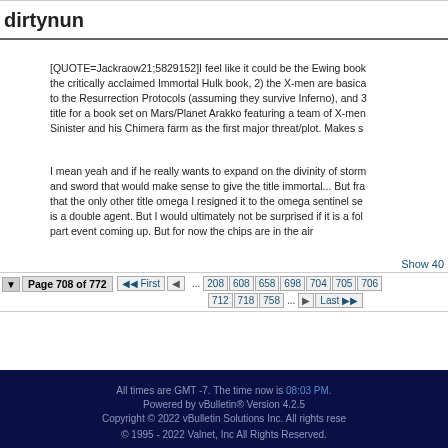dirtynun
[QUOTE=Jackraow21;5829152]I feel like it could be the Ewing book the critically acclaimed Immortal Hulk book, 2) the X-men are basically to the Resurrection Protocols (assuming they survive Inferno), and 3 title for a book set on Mars/Planet Arakko featuring a team of X-men Sinister and his Chimera farm as the first major threat/plot. Makes s
I mean yeah and if he really wants to expand on the divinity of storm and sword that would make sense to give the title immortal... But fra that the only other title omega I resigned it to the omega sentinel se is a double agent. But I would ultimately not be surprised if it is a fol part event coming up. But for now the chips are in the air
Show 40
Page 708 of 772  First  ...  208  608  658  698  704  705  706  712  718  758  ...  Last
All times are GMT -7. The time now is 08:03 PM.
Powered by vBulletin® Version 4.2.5
Copyright © 2022 vBulletin Solutions Inc. All rights reserved.
© 1995 - 2022 Valnet, Inc All Rights Reserved.